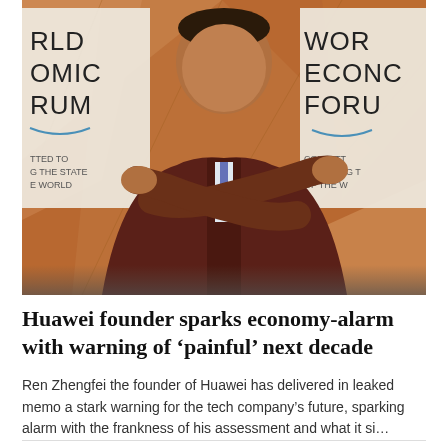[Figure (photo): Ren Zhengfei, founder of Huawei, gesturing with crossed hands at the World Economic Forum. Two WEF banners visible in background on an orange geometric backdrop.]
Huawei founder sparks economy-alarm with warning of ‘painful’ next decade
Ren Zhengfei the founder of Huawei has delivered in leaked memo a stark warning for the tech company’s future, sparking alarm with the frankness of his assessment and what it si…